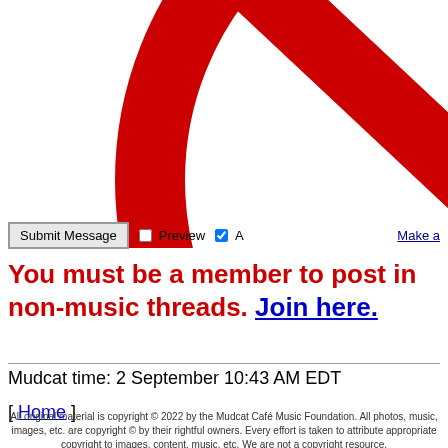[Figure (illustration): Large red no/prohibited symbol (circle with diagonal line through it) partially cropped, displayed in the upper portion of the page]
Submit Message  Preview  [checkbox] A...  Make a [link]
You must be a member to post in non-music threads. Join here.
Mudcat time: 2 September 10:43 AM EDT
[ Home ]
All original material is copyright © 2022 by the Mudcat Café Music Foundation. All photos, music, images, etc. are copyright © by their rightful owners. Every effort is taken to attribute appropriate copyright to images, content, music, etc. We are not a copyright resource.